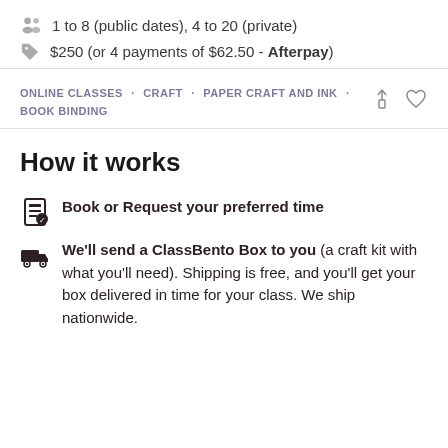1 to 8 (public dates), 4 to 20 (private)
$250 (or 4 payments of $62.50 - Afterpay)
ONLINE CLASSES · CRAFT · PAPER CRAFT AND INK · BOOK BINDING
How it works
Book or Request your preferred time
We'll send a ClassBento Box to you (a craft kit with what you'll need). Shipping is free, and you'll get your box delivered in time for your class. We ship nationwide.